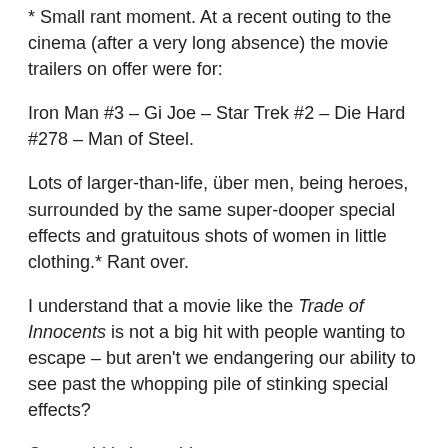* Small rant moment. At a recent outing to the cinema (after a very long absence) the movie trailers on offer were for:
Iron Man #3 – Gi Joe – Star Trek #2 – Die Hard #278 – Man of Steel.
Lots of larger-than-life, über men, being heroes, surrounded by the same super-dooper special effects and gratuitous shots of women in little clothing.* Rant over.
I understand that a movie like the Trade of Innocents is not a big hit with people wanting to escape – but aren't we endangering our ability to see past the whopping pile of stinking special effects?
Our world is in trouble.
So I went along to this screening, thanks to Liz and Mike